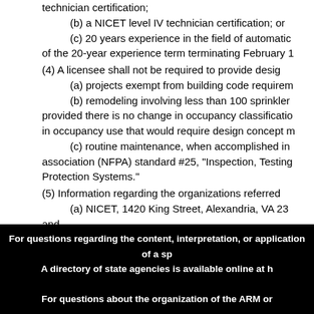technician certification;
(b) a NICET level IV technician certification; or
(c) 20 years experience in the field of automatic of the 20-year experience term terminating February 1
(4) A licensee shall not be required to provide desig
(a) projects exempt from building code requirem
(b) remodeling involving less than 100 sprinkler provided there is no change in occupancy classificatio in occupancy use that would require design concept m
(c) routine maintenance, when accomplished in association (NFPA) standard #25, "Inspection, Testing Protection Systems."
(5) Information regarding the organizations referred
(a) NICET, 1420 King Street, Alexandria, VA 23 and
(b) NFPA, PO Box 9101, Quincy, Massachusetts http://www.nfpa.org/Home/index.asp.
History: 37-67-202, MCA; IMP, 37-67-101, MCA; NEW
Home | Search | About Us | Contact Us | Help
For questions regarding the content, interpretation, or application of a sp A directory of state agencies is available online at h For questions about the organization of the ARM or